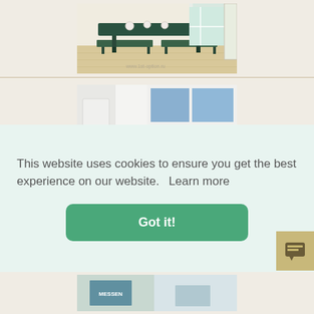[Figure (photo): Dining table with dark green bench seating and wooden top, light wood floor, bright window in background. Watermark: www.1st-option.ru]
[Figure (photo): Bright kitchen interior with white subway tile backsplash, black faucet, windows with blue sky outside, framed artwork on wall, potted plants on windowsill, wicker basket on counter]
This website uses cookies to ensure you get the best experience on our website.  Learn more
[Figure (photo): Partial view of another room/product image at the bottom of the page]
[Figure (other): Chat widget button in tan/gold color with dark icon]